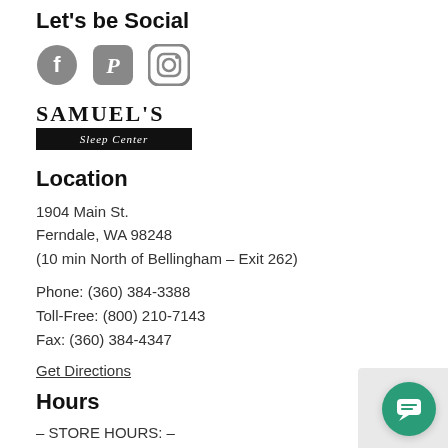Let's be Social
[Figure (illustration): Three social media icons in gray: Facebook (circle with F), Pinterest (circle with P), Instagram (circle with camera outline)]
[Figure (logo): Samuel's Sleep Center logo: SAMUEL'S in large bold uppercase serif text, with 'Sleep Center' in italic white text on a black bar below]
Location
1904 Main St.
Ferndale, WA 98248
(10 min North of Bellingham – Exit 262)
Phone: (360) 384-3388
Toll-Free: (800) 210-7143
Fax: (360) 384-4347
Get Directions
Hours
– STORE HOURS: –
Monday through Saturday